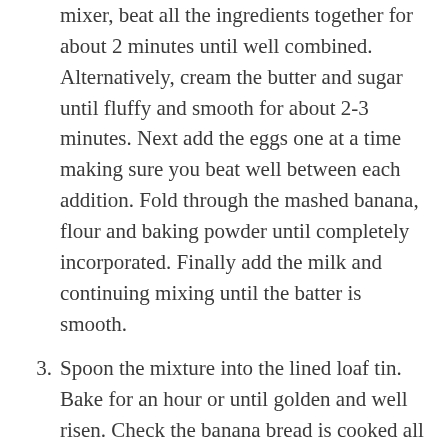mixer, beat all the ingredients together for about 2 minutes until well combined. Alternatively, cream the butter and sugar until fluffy and smooth for about 2-3 minutes. Next add the eggs one at a time making sure you beat well between each addition. Fold through the mashed banana, flour and baking powder until completely incorporated. Finally add the milk and continuing mixing until the batter is smooth.
3. Spoon the mixture into the lined loaf tin. Bake for an hour or until golden and well risen. Check the banana bread is cooked all the way through by inserting a wooden skewer or cake tester into the centre, if it comes out clean without any uncooked batter remaining then the banana bread is completely baked.
4. Allow the banana bread to cool in the tin for